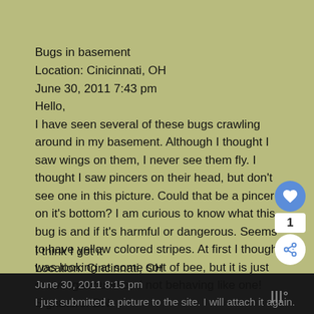Bugs in basement
Location: Cinicinnati, OH
June 30, 2011 7:43 pm
Hello,
I have seen several of these bugs crawling around in my basement. Although I thought I saw wings on them, I never see them fly. I thought I saw pincers on their head, but don't see one in this picture. Could that be a pincer on it's bottom? I am curious to know what this bug is and if it's harmful or dangerous. Seems to have yellow colored stripes. At first I thought I was looking at some sort of bee, but it is just crawling around and not behaving like one!
Signature: DN
I think I got it
Location: Cincinnati, OH
June 30, 2011 8:15 pm
I just submitted a picture to the site. I will attach it again.